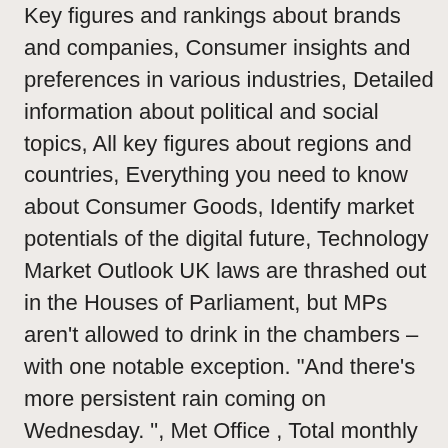Key figures and rankings about brands and companies, Consumer insights and preferences in various industries, Detailed information about political and social topics, All key figures about regions and countries, Everything you need to know about Consumer Goods, Identify market potentials of the digital future, Technology Market Outlook UK laws are thrashed out in the Houses of Parliament, but MPs aren't allowed to drink in the chambers – with one notable exception. "And there's more persistent rain coming on Wednesday. ", Met Office , Total monthly rainfall in the United Kingdom (UK) from 2014 to 2020 (in millimeters) Statista, https://www.statista.com/statistics/584914/monthly-rainfall-in-uk/ (last visited November 02, 2020), Total monthly rainfall in the United Kingdom (UK) from 2014 to 2020, Global regional temperature change by decade 1910-2019, Global regional annual average temperatures by scenario 1995-2025, Temperature increase of warmest month in